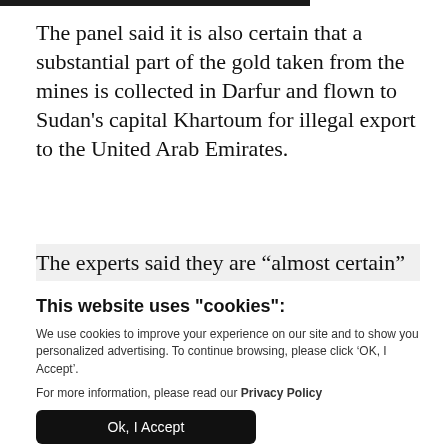The panel said it is also certain that a substantial part of the gold taken from the mines is collected in Darfur and flown to Sudan's capital Khartoum for illegal export to the United Arab Emirates.
The experts said they are “almost certain”
This website uses "cookies":
We use cookies to improve your experience on our site and to show you personalized advertising. To continue browsing, please click ‘OK, I Accept’.
For more information, please read our Privacy Policy
Ok, I Accept